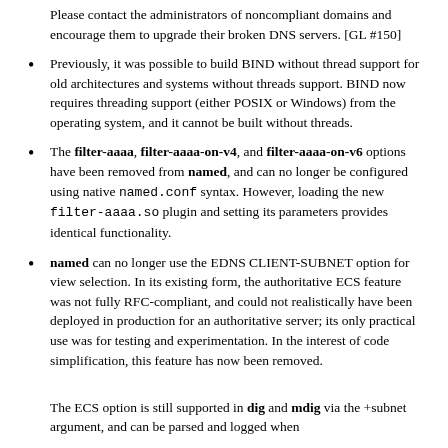Please contact the administrators of noncompliant domains and encourage them to upgrade their broken DNS servers. [GL #150]
Previously, it was possible to build BIND without thread support for old architectures and systems without threads support. BIND now requires threading support (either POSIX or Windows) from the operating system, and it cannot be built without threads.
The filter-aaaa, filter-aaaa-on-v4, and filter-aaaa-on-v6 options have been removed from named, and can no longer be configured using native named.conf syntax. However, loading the new filter-aaaa.so plugin and setting its parameters provides identical functionality.
named can no longer use the EDNS CLIENT-SUBNET option for view selection. In its existing form, the authoritative ECS feature was not fully RFC-compliant, and could not realistically have been deployed in production for an authoritative server; its only practical use was for testing and experimentation. In the interest of code simplification, this feature has now been removed.
The ECS option is still supported in dig and mdig via the +subnet argument, and can be parsed and logged when